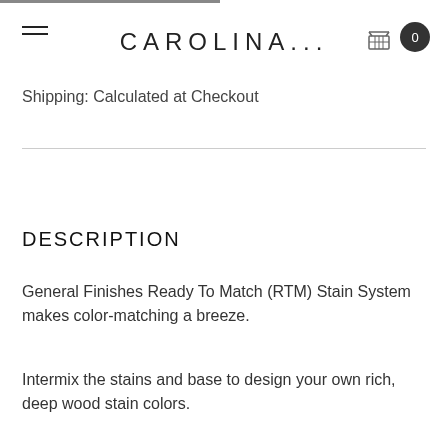CAROLINA...
Shipping: Calculated at Checkout
DESCRIPTION
General Finishes Ready To Match (RTM) Stain System makes color-matching a breeze.
Intermix the stains and base to design your own rich, deep wood stain colors.